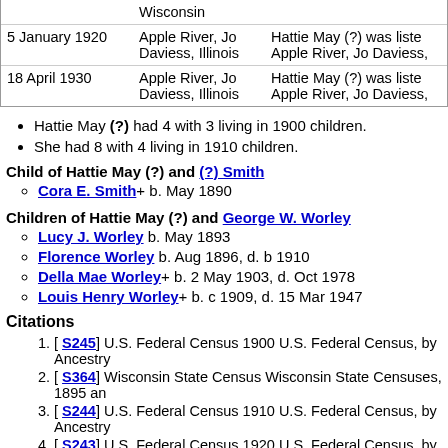| Date | Location | Notes |
| --- | --- | --- |
|  | Wisconsin |  |
| 5 January 1920 | Apple River, Jo Daviess, Illinois | Hattie May (?) was listed Apple River, Jo Daviess, |
| 18 April 1930 | Apple River, Jo Daviess, Illinois | Hattie May (?) was listed Apple River, Jo Daviess, |
Hattie May (?) had 4 with 3 living in 1900 children.
She had 8 with 4 living in 1910 children.
Child of Hattie May (?) and (?) Smith
Cora E. Smith+ b. May 1890
Children of Hattie May (?) and George W. Worley
Lucy J. Worley b. May 1893
Florence Worley b. Aug 1896, d. b 1910
Della Mae Worley+ b. 2 May 1903, d. Oct 1978
Louis Henry Worley+ b. c 1909, d. 15 Mar 1947
Citations
[S245] U.S. Federal Census 1900 U.S. Federal Census, by Ancestry
[S364] Wisconsin State Census Wisconsin State Censuses, 1895 an
[S244] U.S. Federal Census 1910 U.S. Federal Census, by Ancestry
[S243] U.S. Federal Census 1920 U.S. Federal Census, by Ancestry
[S250] U.S. Federal Census 1930 U.S. Federal Census, by Ancestry